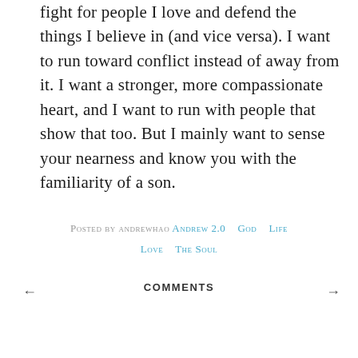fight for people I love and defend the things I believe in (and vice versa). I want to run toward conflict instead of away from it. I want a stronger, more compassionate heart, and I want to run with people that show that too. But I mainly want to sense your nearness and know you with the familiarity of a son.
Posted by andrewhao Andrew 2.0   God   Life   Love   The Soul
← COMMENTS →